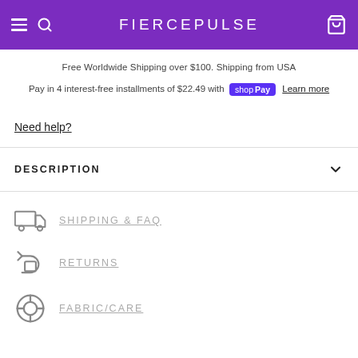FIERCEPULSE
Free Worldwide Shipping over $100. Shipping from USA
Pay in 4 interest-free installments of $22.49 with shop Pay Learn more
Need help?
DESCRIPTION
SHIPPING & FAQ
RETURNS
FABRIC/CARE